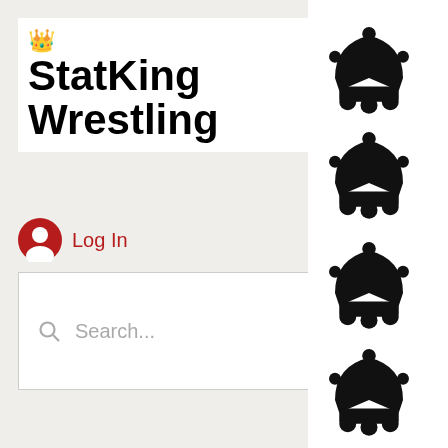[Figure (logo): StatKing Wrestling logo with crown emoji and bold black text on white background]
Log In
Search...
New
2021 >
0    0   posted Mar 15 >
· Apr 21
Timsmarketplace - New and Used Cars for Sale in USA